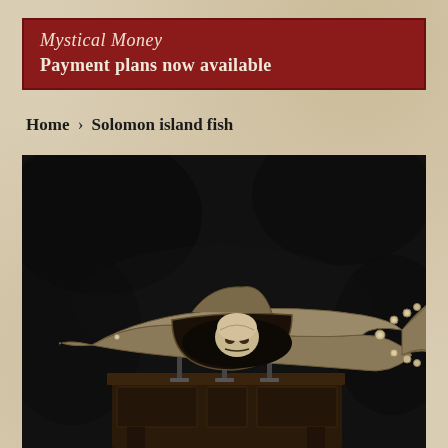Mystical Money
Payment plans now available
Home › Solomon island fish
[Figure (photo): A large wooden fish-shaped coffin or container, open in the middle revealing a human skull inside. The carved wooden fish has a pointed snout, dorsal fin, and a forked tail with circular inlaid decorations. The artifact is displayed on metal stands atop an ornate dark wooden cabinet, photographed against a black fabric background.]